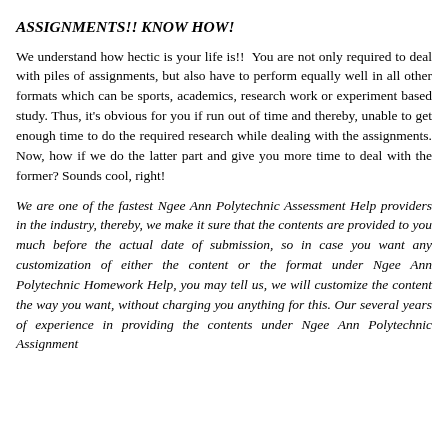ASSIGNMENTS!! KNOW HOW!
We understand how hectic is your life is!!  You are not only required to deal with piles of assignments, but also have to perform equally well in all other formats which can be sports, academics, research work or experiment based study. Thus, it's obvious for you if run out of time and thereby, unable to get enough time to do the required research while dealing with the assignments. Now, how if we do the latter part and give you more time to deal with the former? Sounds cool, right!
We are one of the fastest Ngee Ann Polytechnic Assessment Help providers in the industry, thereby, we make it sure that the contents are provided to you much before the actual date of submission, so in case you want any customization of either the content or the format under Ngee Ann Polytechnic Homework Help, you may tell us, we will customize the content the way you want, without charging you anything for this. Our several years of experience in providing the contents under Ngee Ann Polytechnic Assignment